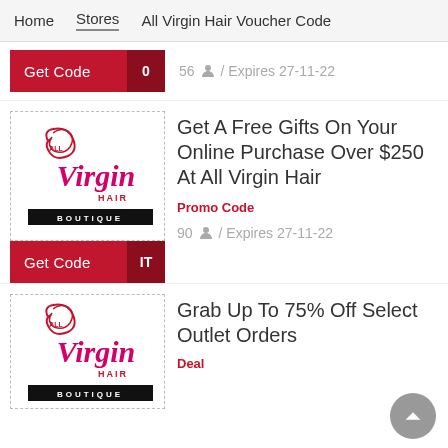Home  Stores  All Virgin Hair Voucher Code
[Figure (screenshot): Get Code button with badge '0' and expiry info: 56 users / Expires 27-11-22]
56 / Expires 27-11-22
[Figure (logo): All Virgin Hair Boutique logo in dashed border box]
Get A Free Gifts On Your Online Purchase Over $250 At All Virgin Hair
Promo Code
90 / Expires 27-11-22
[Figure (logo): All Virgin Hair Boutique logo in dashed border box]
Grab Up To 75% Off Select Outlet Orders
Deal